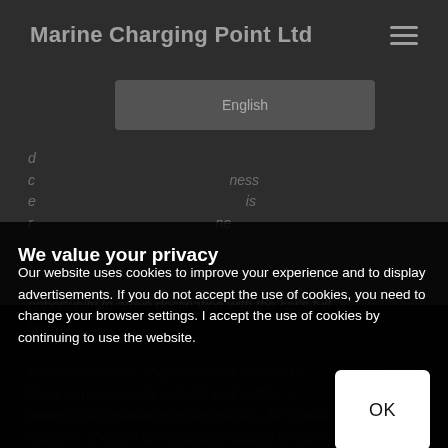Marine Charging Point Ltd
[Figure (screenshot): Language selector dropdown showing 'English' on dark background]
We value your privacy
Our website uses cookies to improve your experience and to display advertisements. If you do not accept the use of cookies, you need to change your browser settings. I accept the use of cookies by continuing to use the website.
opportunity to arrive destination with the car's full battery.
On the other side, shipowners will be able to these services easily, reliably and safely - paramount importance to the industry, for obvious reasons - through an integrated support system.
[Figure (other): OK button (white rectangle) for cookie consent dialog]
[Figure (other): Dark circular scroll/back button in bottom right corner]